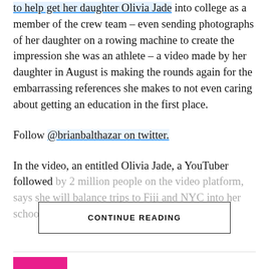to help get her daughter Olivia Jade into college as a member of the crew team – even sending photographs of her daughter on a rowing machine to create the impression she was an athlete – a video made by her daughter in August is making the rounds again for the embarrassing references she makes to not even caring about getting an education in the first place.
Follow @brianbalthazar on twitter.
In the video, an entitled Olivia Jade, a YouTuber followed by 2 million people on the video platform, says she will balance trips to Fiji and NYC into her school calendar,